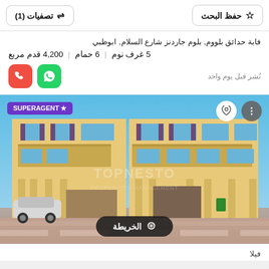تصفيات (1)  |  حفظ البحث
فابة حدائق بلووم, بلوم جاردنز شارع السلام, ابوظبي
5 غرف نوم | 6 حمام | 4,200 قدم مربع
نُشر قبل يوم واحد
[Figure (photo): Two-storey villa with yellow exterior, columns, balconies, purple shutters, parked white car, blue sky, watermark TOPNESTO PROPERTIES MANAGEMENT]
الخريطة
فيلا